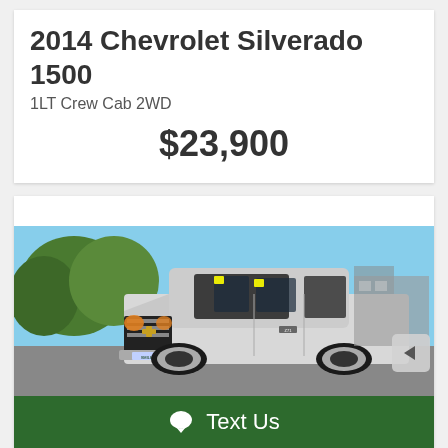2014 Chevrolet Silverado 1500
1LT Crew Cab 2WD
$23,900
[Figure (photo): Front three-quarter view of a silver 2014 Chevrolet Silverado 1500 pickup truck parked in a lot with green trees and blue sky in background. Yellow price stickers visible on windshield. Dealer plate reading SMILEY on front bumper.]
Text Us